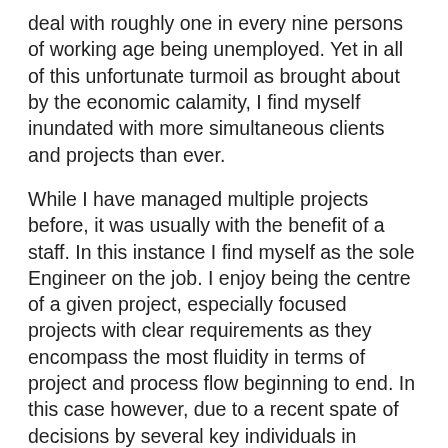deal with roughly one in every nine persons of working age being unemployed. Yet in all of this unfortunate turmoil as brought about by the economic calamity, I find myself inundated with more simultaneous clients and projects than ever.
While I have managed multiple projects before, it was usually with the benefit of a staff. In this instance I find myself as the sole Engineer on the job. I enjoy being the centre of a given project, especially focused projects with clear requirements as they encompass the most fluidity in terms of project and process flow beginning to end. In this case however, due to a recent spate of decisions by several key individuals in charge of my various client entities, there has been an influx of new projects, primarily new ventures and re-launched (and recently acquired) web entities.
These are all primarily fashion and lifestyle media groups and magazines and while they all have a similar bent to them, the amount of design behind the scenes differs greatly from one entity to another. I find that the sites in which there is a solid plan are to most enjoyable on which to work